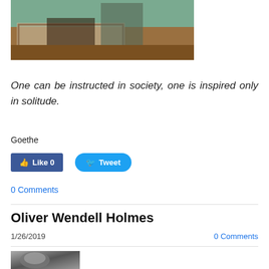[Figure (photo): Partial view of an indoor room with a rug on the floor, chairs, and a door visible. Muted tones of beige, brown, and teal.]
One can be instructed in society, one is inspired only in solitude.
Goethe
[Figure (screenshot): Facebook Like button showing 'Like 0' and Twitter Tweet button]
0 Comments
Oliver Wendell Holmes
1/26/2019
0 Comments
[Figure (photo): Partial view of a black and white portrait photo at the bottom of the page.]